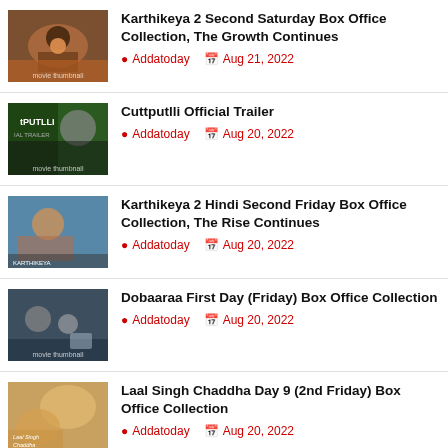Karthikeya 2 Second Saturday Box Office Collection, The Growth Continues
Addatoday  Aug 21, 2022
Cuttputlli Official Trailer
Addatoday  Aug 20, 2022
Karthikeya 2 Hindi Second Friday Box Office Collection, The Rise Continues
Addatoday  Aug 20, 2022
Dobaaraa First Day (Friday) Box Office Collection
Addatoday  Aug 20, 2022
Laal Singh Chaddha Day 9 (2nd Friday) Box Office Collection
Addatoday  Aug 20, 2022